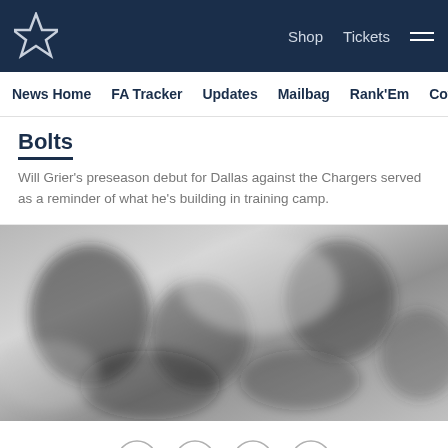Dallas Cowboys — Shop | Tickets | Navigation
News Home  FA Tracker  Updates  Mailbag  Rank'Em  Cowbuz
Bolts
Will Grier's preseason debut for Dallas against the Chargers served as a reminder of what he's building in training camp.
[Figure (photo): Blurred grayscale action photo of football players on field]
Social share icons: Facebook, Twitter, Email, Link